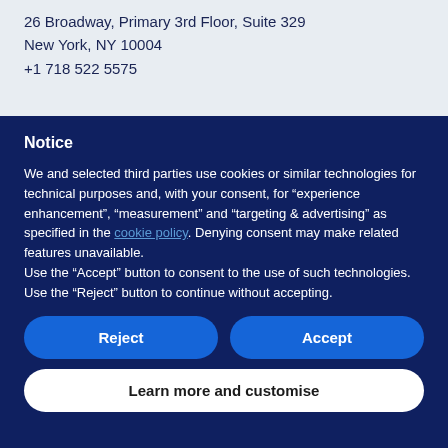26 Broadway, Primary 3rd Floor, Suite 329
New York, NY 10004
+1 718 522 5575
Notice
We and selected third parties use cookies or similar technologies for technical purposes and, with your consent, for “experience enhancement”, “measurement” and “targeting & advertising” as specified in the cookie policy. Denying consent may make related features unavailable.
Use the “Accept” button to consent to the use of such technologies. Use the “Reject” button to continue without accepting.
Reject
Accept
Learn more and customise